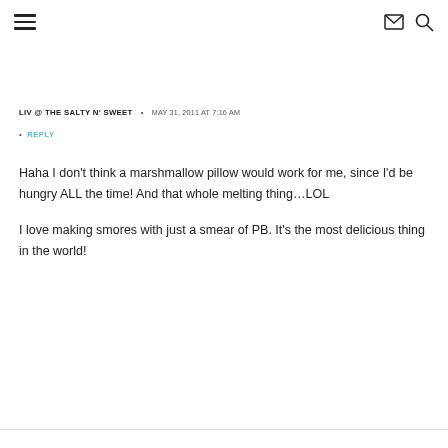Navigation header with hamburger menu, mail icon, and search icon
LIV @ THE SALTY N' SWEET • MAY 31, 2011 AT 7:16 AM
REPLY
Haha I don't think a marshmallow pillow would work for me, since I'd be hungry ALL the time! And that whole melting thing…LOL

I love making smores with just a smear of PB. It's the most delicious thing in the world!